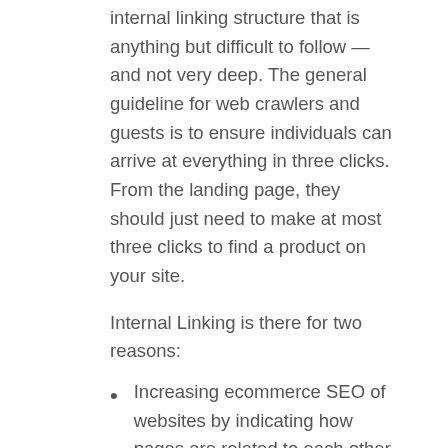internal linking structure that is anything but difficult to follow — and not very deep. The general guideline for web crawlers and guests is to ensure individuals can arrive at everything in three clicks. From the landing page, they should just need to make at most three clicks to find a product on your site.
Internal Linking is there for two reasons:
Increasing ecommerce SEO of websites by indicating how pages are related to each other.
Raising the time on the website by urging guests to explore your site further.